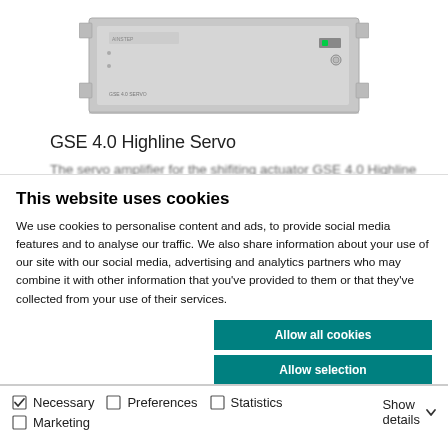[Figure (photo): GSE 4.0 Servo rack-mounted device, silver/grey chassis with green LED indicator and power button on right side, label reads GSE 4.0 SERVO]
GSE 4.0 Highline Servo
The servo amplifier for the shifiting actuator GSE 4.0 Highline
This website uses cookies
We use cookies to personalise content and ads, to provide social media features and to analyse our traffic. We also share information about your use of our site with our social media, advertising and analytics partners who may combine it with other information that you've provided to them or that they've collected from your use of their services.
Allow all cookies
Allow selection
Use necessary cookies only
Necessary  Preferences  Statistics  Marketing  Show details